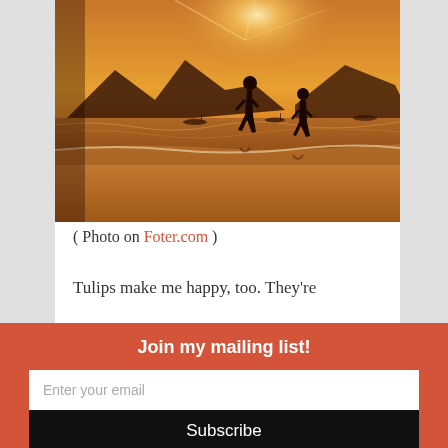[Figure (photo): Beach sunset scene with silhouettes of two children running along the shoreline, warm orange-brown tones, mountains and boats in background]
( Photo on Foter.com )
Tulips make me happy, too. They're
Join my mailing list!
Enter your email
Subscribe